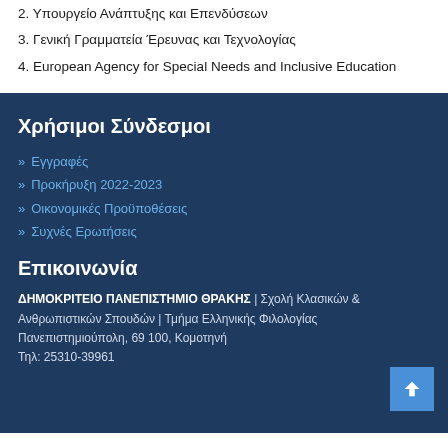2. Υπουργείο Ανάπτυξης και Επενδύσεων
3. Γενική Γραμματεία Έρευνας και Τεχνολογίας
4. European Agency for Special Needs and Inclusive Education
Χρήσιμοι Σύνδεσμοι
» Εγγραφές
» Προκήρυξη 2022-2023
» Οικονομικές Προϋποθέσεις
» Συχνές Ερωτήσεις
Επικοινωνία
ΔΗΜΟΚΡΙΤΕΙΟ ΠΑΝΕΠΙΣΤΗΜΙΟ ΘΡΑΚΗΣ | Σχολή Κλασικών & Ανθρωπιστικών Σπουδών | Τμήμα Ελληνικής Φιλολογίας Πανεπιστημιούπολη, 69 100, Κομοτηνή Τηλ: 25310-39961